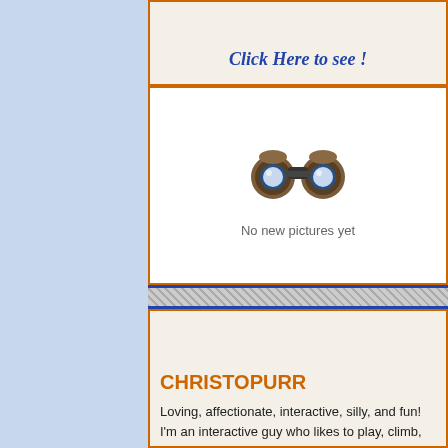Click Here to see !
[Figure (photo): Binoculars icon image]
No new pictures yet
CHRISTOPURR
Loving, affectionate, interactive, silly, and fun! I'm an interactive guy who likes to play, climb, and snuggle!